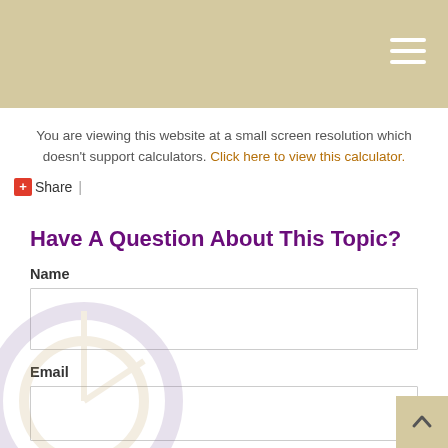You are viewing this website at a small screen resolution which doesn't support calculators. Click here to view this calculator.
+Share |
Have A Question About This Topic?
Name
Email